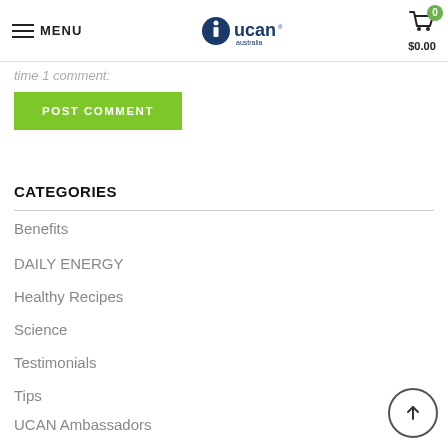MENU | UCAN Australia | $0.00
time 1 comment:
POST COMMENT
CATEGORIES
Benefits
DAILY ENERGY
Healthy Recipes
Science
Testimonials
Tips
UCAN Ambassadors